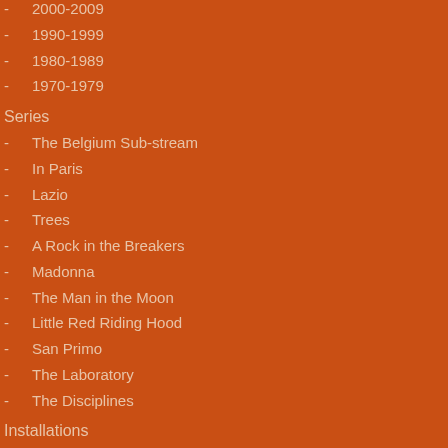2000-2009 (partial, top)
1990-1999
1980-1989
1970-1979
Series
The Belgium Sub-stream
In Paris
Lazio
Trees
A Rock in the Breakers
Madonna
The Man in the Moon
Little Red Riding Hood
San Primo
The Laboratory
The Disciplines
Installations
Her backyard
Nude on Easels